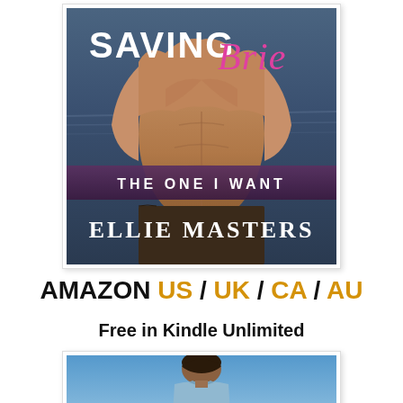[Figure (illustration): Book cover for 'Saving Brie' by Ellie Masters. The cover shows a muscular shirtless male torso against a dark water/ocean background. Title text 'SAVING Brie' in white bold and pink script at the top, subtitle 'THE ONE I WANT' in white text on a dark purple banner, and author name 'ELLIE MASTERS' in large white serif text at the bottom.]
AMAZON US / UK / CA / AU
Free in Kindle Unlimited
[Figure (illustration): Partial book cover showing a man with dark hair against a blue sky background, only the top portion visible.]